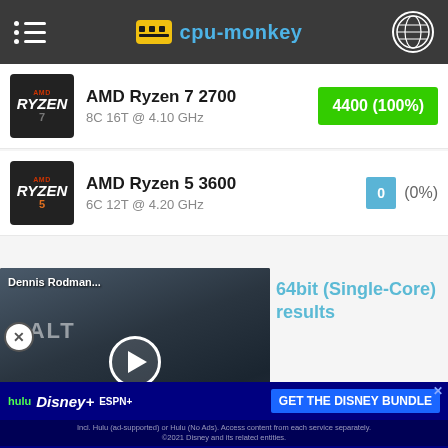cpu-monkey
AMD Ryzen 7 2700
8C 16T @ 4.10 GHz
4400 (100%)
AMD Ryzen 5 3600
6C 12T @ 4.20 GHz
0 (0%)
[Figure (screenshot): Video overlay showing Dennis Rodman with play button. Caption: Dennis Rodman Is No Longer Going to Russia to Help Brittney Griner]
Geekbench 3, 64bit (Single-Core) results
Geekbench 3, 64bit (Multi-Core)
heavily uses the systems memory. A fast memory will
[Figure (screenshot): Advertisement: GET THE DISNEY BUNDLE - hulu, Disney+, ESPN+. Incl. Hulu (ad-supported or Hulu (No Ads). Access content from each service separately. ©2021 Disney and its related entities.]